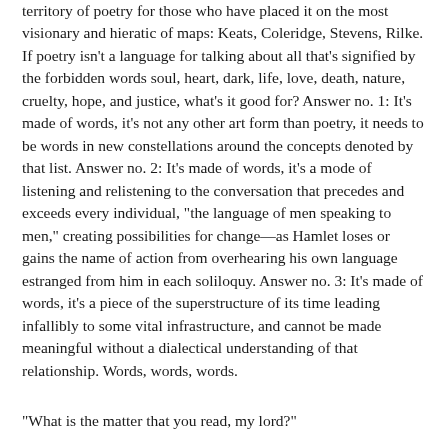territory of poetry for those who have placed it on the most visionary and hieratic of maps: Keats, Coleridge, Stevens, Rilke. If poetry isn't a language for talking about all that's signified by the forbidden words soul, heart, dark, life, love, death, nature, cruelty, hope, and justice, what's it good for? Answer no. 1: It's made of words, it's not any other art form than poetry, it needs to be words in new constellations around the concepts denoted by that list. Answer no. 2: It's made of words, it's a mode of listening and relistening to the conversation that precedes and exceeds every individual, "the language of men speaking to men," creating possibilities for change—as Hamlet loses or gains the name of action from overhearing his own language estranged from him in each soliloquy. Answer no. 3: It's made of words, it's a piece of the superstructure of its time leading infallibly to some vital infrastructure, and cannot be made meaningful without a dialectical understanding of that relationship. Words, words, words.
"What is the matter that you read, my lord?"
Just so.